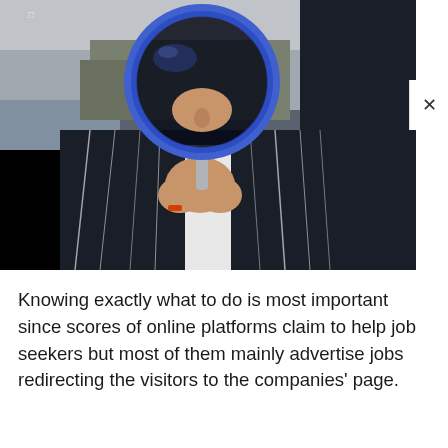[Figure (photo): A person wearing oversized blue-rimmed goggles/magnifying glass over their face, dressed in a black and white pinstripe suit, holding the magnifying glass up to their face with both hands clasped together. Background shows an outdoor setting.]
Knowing exactly what to do is most important since scores of online platforms claim to help job seekers but most of them mainly advertise jobs redirecting the visitors to the companies' page.